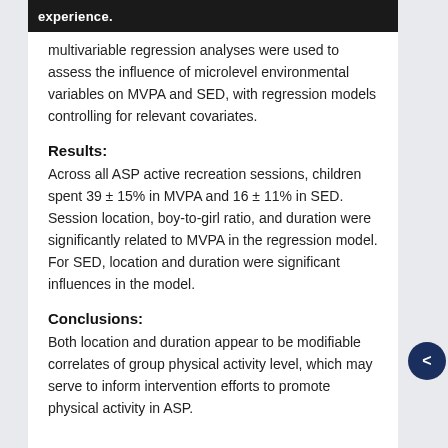experience.
multivariable regression analyses were used to assess the influence of microlevel environmental variables on MVPA and SED, with regression models controlling for relevant covariates.
Results:
Across all ASP active recreation sessions, children spent 39 ± 15% in MVPA and 16 ± 11% in SED. Session location, boy-to-girl ratio, and duration were significantly related to MVPA in the regression model. For SED, location and duration were significant influences in the model.
Conclusions:
Both location and duration appear to be modifiable correlates of group physical activity level, which may serve to inform intervention efforts to promote physical activity in ASP.